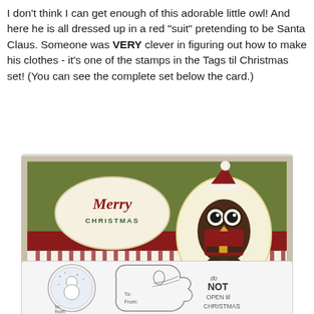I don't think I can get enough of this adorable little owl! And here he is all dressed up in a red "suit" pretending to be Santa Claus. Someone was VERY clever in figuring out how to make his clothes - it's one of the stamps in the Tags til Christmas set! (You can see the complete set below the card.)
[Figure (photo): A handmade Christmas card featuring a green background with red and white vertical stripes on the lower half, a red horizontal band across the middle, an oval with 'Merry Christmas' text on the left, and an oval cameo of an owl dressed as Santa Claus on the right. Watermark reads 'B Jayne Stenstrom, jaynestamps.blogspot.com, Images © Stampin Up']
[Figure (photo): Partial view of a stamp set called 'Tags til Christmas' showing three stamps: a circular snowman scene with 'to:' and 'from:' labels, a gift tag shape with pinecone and branch with 'To:' and 'From:' text, and a rectangular stamp reading 'do NOT OPEN til CHRISTMAS']